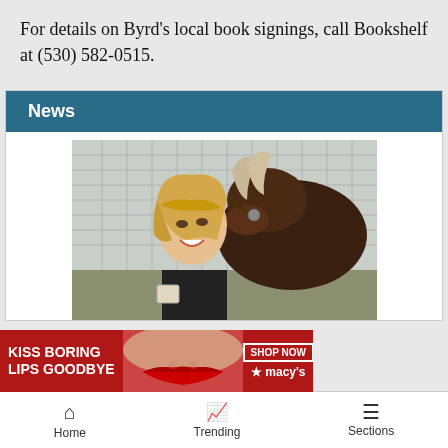For details on Byrd’s local book signings, call Bookshelf at (530) 582-0515.
News
[Figure (photo): A smiling blonde woman posing next to a dark brown horse with a light mane, in front of a wire fence. The woman is laughing and appears to be holding a cup.]
[Figure (other): Advertisement banner: KISS BORING LIPS GOODBYE with a photo of a woman with red lips, SHOP NOW button, and Macy's logo]
Home   Trending   Sections